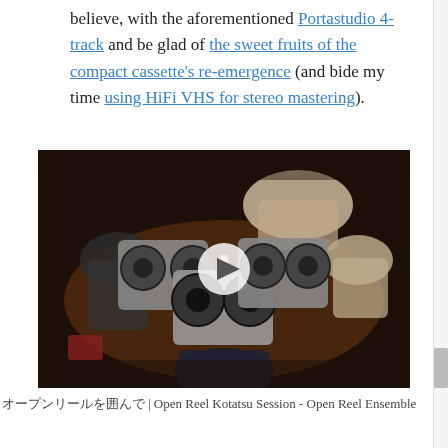believe, with the aforementioned Portastudio 4-track and be glad of the sweet fruits of the compact cassette's re-emergence (and bide my time using HiFi VHS for stereo mastering).
[Figure (photo): Video thumbnail showing overhead view of people gathered around reel-to-reel tape machines on a table, with a play button overlay in the center.]
オープンリールを囲んで | Open Reel Kotatsu Session - Open Reel Ensemble